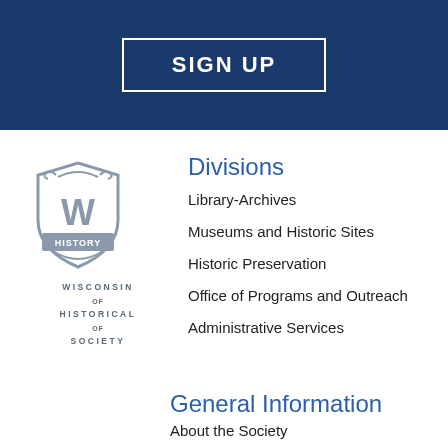[Figure (other): Dark navy blue header bar with a 'SIGN UP' button in white bold uppercase text inside a white border rectangle]
[Figure (logo): Wisconsin Historical Society logo: gray shield emblem with 'W' and 'HISTORY' text, below which reads 'WISCONSIN HISTORICAL SOCIETY' in spaced uppercase letters]
Divisions
Library-Archives
Museums and Historic Sites
Historic Preservation
Office of Programs and Outreach
Administrative Services
General Information
About the Society